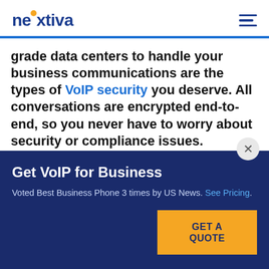nextiva [logo with hamburger menu]
grade data centers to handle your business communications are the types of VoIP security you deserve. All conversations are encrypted end-to-end, so you never have to worry about security or compliance issues.
Get VoIP for Business
Voted Best Business Phone 3 times by US News. See Pricing.
GET A QUOTE